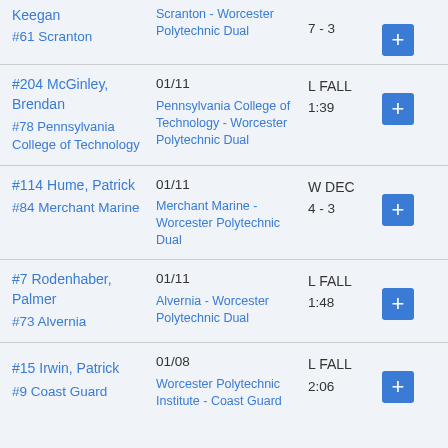| Wrestler / Opponent | Date / Event | Result | Action |
| --- | --- | --- | --- |
| Keegan
#61 Scranton | Scranton - Worcester Polytechnic Dual | 7 - 3 | + |
| #204 McGinley, Brendan
#78 Pennsylvania College of Technology | 01/11
Pennsylvania College of Technology - Worcester Polytechnic Dual | L FALL
1:39 | + |
| #114 Hume, Patrick
#84 Merchant Marine | 01/11
Merchant Marine - Worcester Polytechnic Dual | W DEC
4 - 3 | + |
| #7 Rodenhaber, Palmer
#73 Alvernia | 01/11
Alvernia - Worcester Polytechnic Dual | L FALL
1:48 | + |
| #15 Irwin, Patrick
#9 Coast Guard | 01/08
Worcester Polytechnic Institute - Coast Guard | L FALL
2:06 | + |